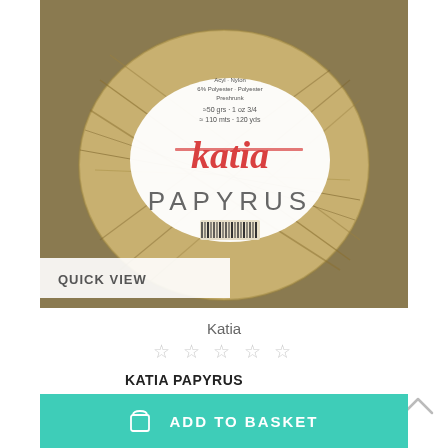[Figure (photo): Ball of Katia Papyrus yarn in beige/gold tones with the Katia brand label showing the product name PAPYRUS and details: ≈50 grs, 1 oz 3/4, ≈110 mts, 120 yds. A QUICK VIEW button overlay is visible in the bottom-left of the image.]
Katia
☆ ☆ ☆ ☆ ☆
KATIA PAPYRUS
€3.72
ADD TO BASKET